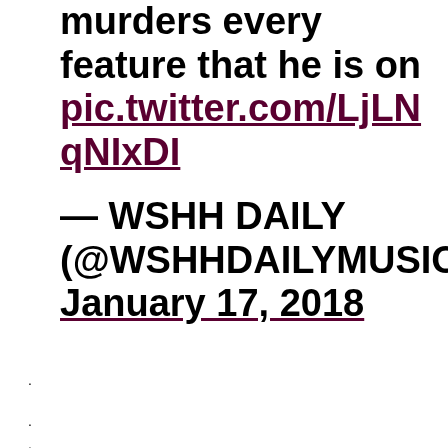murders every feature that he is on pic.twitter.com/LjLNqNIxDI
— WSHH DAILY (@WSHHDAILYMUSIC) January 17, 2018